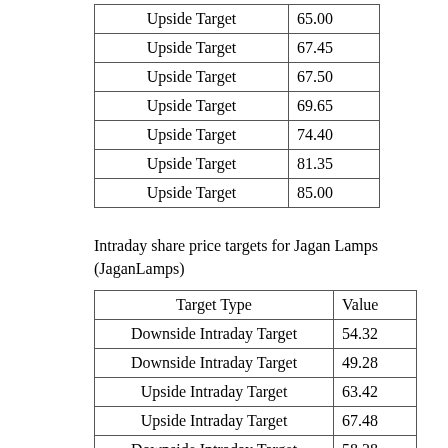| Target Type | Value |
| --- | --- |
| Upside Target | 65.00 |
| Upside Target | 67.45 |
| Upside Target | 67.50 |
| Upside Target | 69.65 |
| Upside Target | 74.40 |
| Upside Target | 81.35 |
| Upside Target | 85.00 |
Intraday share price targets for Jagan Lamps (JaganLamps)
| Target Type | Value |
| --- | --- |
| Downside Intraday Target | 54.32 |
| Downside Intraday Target | 49.28 |
| Upside Intraday Target | 63.42 |
| Upside Intraday Target | 67.48 |
| Downside Intraday Target | 58.38 |